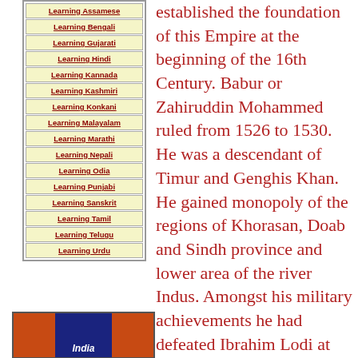Learning Assamese
Learning Bengali
Learning Gujarati
Learning Hindi
Learning Kannada
Learning Kashmiri
Learning Konkani
Learning Malayalam
Learning Marathi
Learning Nepali
Learning Odia
Learning Punjabi
Learning Sanskrit
Learning Tamil
Learning Telugu
Learning Urdu
established the foundation of this Empire at the beginning of the 16th Century. Babur or Zahiruddin Mohammed ruled from 1526 to 1530. He was a descendant of Timur and Genghis Khan. He gained monopoly of the regions of Khorasan, Doab and Sindh province and lower area of the river Indus. Amongst his military achievements he had defeated Ibrahim Lodi at the first battle that took place in Panipat. Even though Babur
[Figure (illustration): India navigation box with dark blue background and orange side panels, labeled 'India' in white italic text]